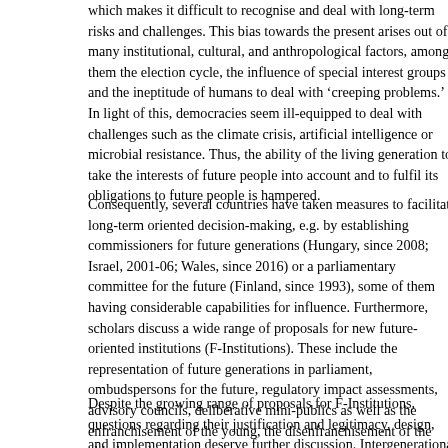which makes it difficult to recognise and deal with long-term risks and challenges. This bias towards the present arises out of many institutional, cultural, and anthropological factors, among them the election cycle, the influence of special interest groups and the ineptitude of humans to deal with 'creeping problems.' In light of this, democracies seem ill-equipped to deal with challenges such as the climate crisis, artificial intelligence or microbial resistance. Thus, the ability of the living generation to take the interests of future people into account and to fulfil its obligations to future people is hampered.
Consequently, several countries have taken measures to facilitate long-term oriented decision-making, e.g. by establishing commissioners for future generations (Hungary, since 2008; Israel, 2001-06; Wales, since 2016) or a parliamentary committee for the future (Finland, since 1993), some of them having considerable capabilities for influence. Furthermore, scholars discuss a wide range of proposals for new future-oriented institutions (F-Institutions). These include the representation of future generations in parliament, ombudspersons for the future, regulatory impact assessments, advisory councils, deliberative mini-publics as well as the enfranchisement of the young, the disenfranchisement of the elderly and many more.
Despite the growing range of proposals for F-Institutions, questions regarding their justification and legitimacy, design, and implementation deserve further discussion. Intergenerational equity, democratic legitimacy, and generational sovereignty all exert their normative...